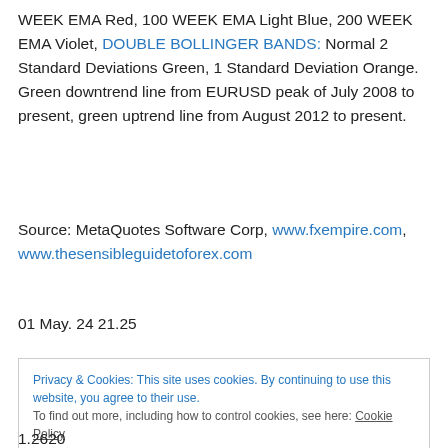WEEK EMA Red, 100 WEEK EMA Light Blue, 200 WEEK EMA Violet, DOUBLE BOLLINGER BANDS: Normal 2 Standard Deviations Green, 1 Standard Deviation Orange. Green downtrend line from EURUSD peak of July 2008 to present, green uptrend line from August 2012 to present.
Source: MetaQuotes Software Corp, www.fxempire.com, www.thesensibleguidetoforex.com
01 May. 24 21.25
Privacy & Cookies: This site uses cookies. By continuing to use this website, you agree to their use. To find out more, including how to control cookies, see here: Cookie Policy
Close and accept
1.2620